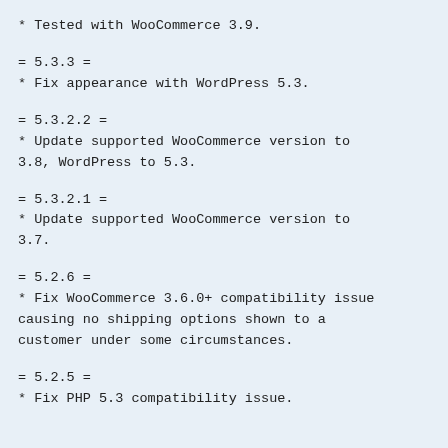* Tested with WooCommerce 3.9.
= 5.3.3 =
* Fix appearance with WordPress 5.3.
= 5.3.2.2 =
* Update supported WooCommerce version to 3.8, WordPress to 5.3.
= 5.3.2.1 =
* Update supported WooCommerce version to 3.7.
= 5.2.6 =
* Fix WooCommerce 3.6.0+ compatibility issue causing no shipping options shown to a customer under some circumstances.
= 5.2.5 =
* Fix PHP 5.3 compatibility issue.